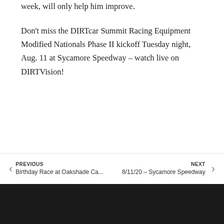week, will only help him improve.
Don't miss the DIRTcar Summit Racing Equipment Modified Nationals Phase II kickoff Tuesday night, Aug. 11 at Sycamore Speedway – watch live on DIRTVision!
PREVIOUS: Birthday Race at Oakshade Ca... | NEXT: 8/11/20 – Sycamore Speedway